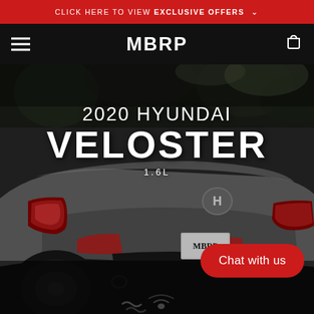CLICK HERE TO VIEW EXCLUSIVE OFFERS
MBRP
[Figure (photo): Rear view of a 2020 Hyundai Veloster 1.6L in gray/silver with red brake lights, MBRP exhaust, MBRP license plate frame, photographed outdoors with trees in background. Hero image overlay text reads '2020 HYUNDAI VELOSTER 1.6L'. Chat with us button in red pill shape at bottom right.]
2020 HYUNDAI VELOSTER 1.6L
Chat with us